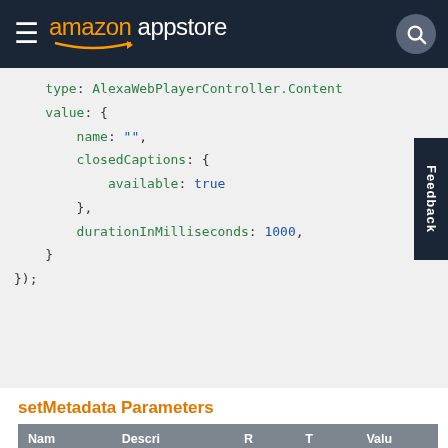amazon appstore
[Figure (screenshot): Code block showing JSON/JS object with type: AlexaWebPlayerController.Content, value: { name: "", closedCaptions: { available: true }, durationInMilliseconds: 1000 } });]
setMetadata Parameters
| Name | Description | Req | Type | Values |
| --- | --- | --- | --- | --- |